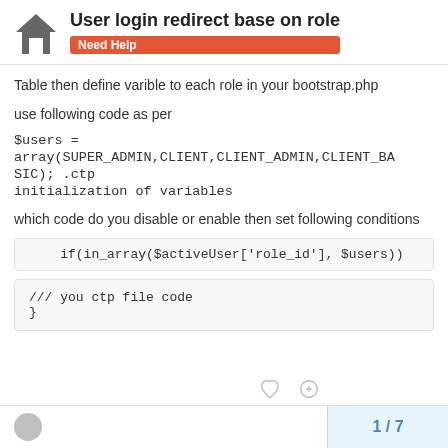User login redirect base on role — Need Help
Table then define varible to each role in your bootstrap.php
use following code as per
$users =
array(SUPER_ADMIN,CLIENT,CLIENT_ADMIN,CLIENT_BASIC); .ctp
initialization of variables
which code do you disable or enable then set following conditions
if(in_array($activeUser['role_id'], $users))
/// you ctp file code
}
1 / 7